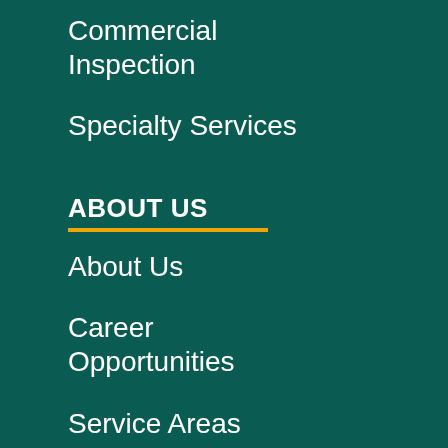Commercial Inspection
Specialty Services
ABOUT US
About Us
Career Opportunities
Service Areas
Warranty Information